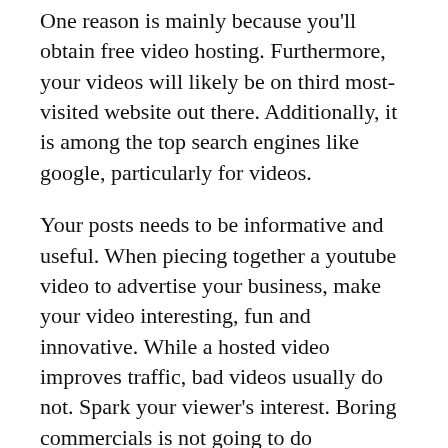One reason is mainly because you'll obtain free video hosting. Furthermore, your videos will likely be on third most-visited website out there. Additionally, it is among the top search engines like google, particularly for videos.
Your posts needs to be informative and useful. When piecing together a youtube video to advertise your business, make your video interesting, fun and innovative. While a hosted video improves traffic, bad videos usually do not. Spark your viewer's interest. Boring commercials is not going to do thatBoston Video production Making great content helps keep the viewers coming.
For your content to matter. When making...